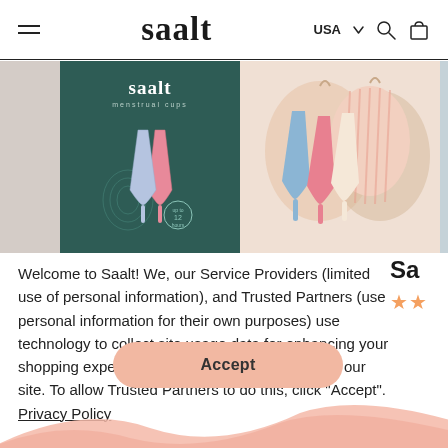saalt — USA — navigation header with menu, search, and cart icons
[Figure (photo): Saalt menstrual cup product box (dark teal/green) on left, colorful menstrual cups with pouches in center, partial product bottle on right]
Welcome to Saalt! We, our Service Providers (limited use of personal information), and Trusted Partners (use personal information for their own purposes) use technology to collect site usage data for enhancing your shopping experience, advertising, and improving our site. To allow Trusted Partners to do this, click "Accept".  Privacy Policy
Accept
[Figure (illustration): Partial decorative wave/swoosh illustration at bottom of page in salmon/pink color]